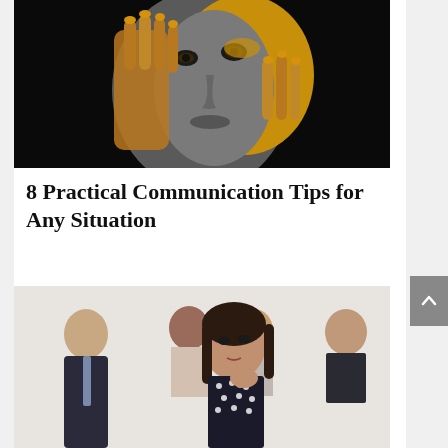[Figure (photo): Close-up portrait of a person with face painted half grey/silver and half yellow/gold, with hands positioned near their face, on a black background.]
8 Practical Communication Tips for Any Situation
[Figure (photo): Group of business professionals in suits, with a woman in the foreground wearing a polka-dot top, looking thoughtful with her hand near her chin, and other professionals in the background.]